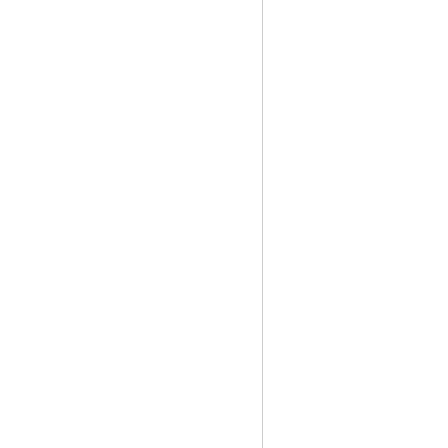Fig. 4. HXPES spectra of O 1s. (continued) spectra of the R1-2h sample, dete... Photoelectrons from deeper O ato... O in substrate SiO2.
Fig. 2 presents the Ni 2p 3/2 sp... oxidized state Ni2+, and the H*-t... oxidation, the Ni0 line has becom...